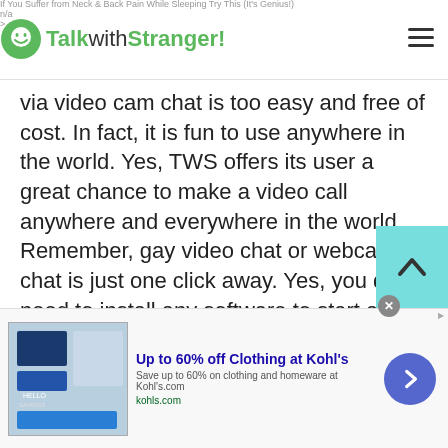If You Suffer from Neck & Back Pain While Sleeping Try This (It's Genius!)
n/a
>
TalkwithStranger!
via video cam chat is too easy and free of cost. In fact, it is fun to use anywhere in the world. Yes, TWS offers its user a great chance to make a video call anywhere and everywhere in the world. Remember, gay video chat or webcam chat is just one click away. Yes, you don't need to install any software to start a gay video chat. Well, not only gay users, TWS always welcome teen boys, girls, male and female strangers, lesbians or everyone on this free online chat.

Well, there are so many video chat apps available
[Figure (screenshot): Scroll-to-top button with upward chevron on light blue/teal background]
[Figure (screenshot): Advertisement banner: Up to 60% off Clothing at Kohl's - Save up to 60% on clothing and homeware at Kohls.com - kohls.com, with close button and arrow navigation button]